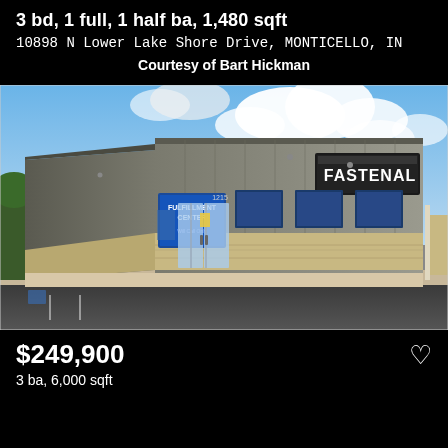3 bd, 1 full, 1 half ba, 1,480 sqft
10898 N Lower Lake Shore Drive, MONTICELLO, IN
Courtesy of Bart Hickman
[Figure (photo): Exterior photo of a commercial building with Fastenal signage and Fulfillment Center signage, gray metal siding, brick facade at base, parking lot in front, blue sky with clouds]
$249,900
3 ba, 6,000 sqft